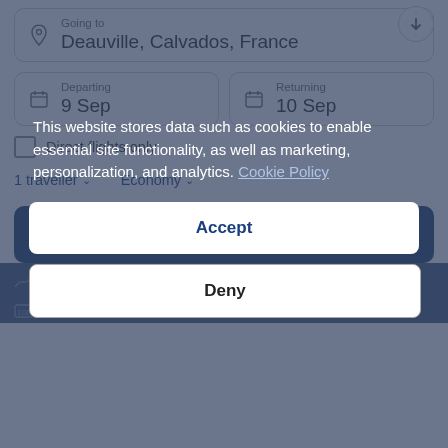Going to
Deauville, Calvados, France
Departing
9 Sep
Returning
10 Sep
Direct flights only
1 traveller
Economy
Search
This website stores data such as cookies to enable essential site functionality, as well as marketing, personalization, and analytics. Cookie Policy
Accept
Deny
Many airlines offer flexible ticket policies
Earn BONUS+ rewards on top of your airline points